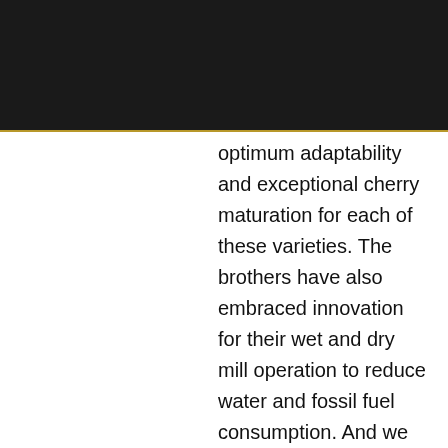[Figure (photo): Black header bar at the top of the page with a thin gold/yellow horizontal rule beneath it]
optimum adaptability and exceptional cherry maturation for each of these varieties. The brothers have also embraced innovation for their wet and dry mill operation to reduce water and fossil fuel consumption. And we have come to expect any combination of processing strategies to charm our taste buds. This washed Colombian/Caturra lot from